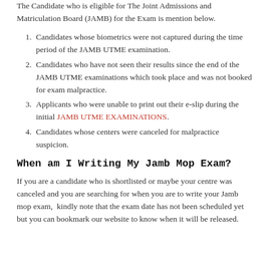The Candidate who is eligible for The Joint Admissions and Matriculation Board (JAMB) for the Exam is mention below.
Candidates whose biometrics were not captured during the time period of the JAMB UTME examination.
Candidates who have not seen their results since the end of the JAMB UTME examinations which took place and was not booked for exam malpractice.
Applicants who were unable to print out their e-slip during the initial JAMB UTME EXAMINATIONS.
Candidates whose centers were canceled for malpractice suspicion.
When am I Writing My Jamb Mop Exam?
If you are a candidate who is shortlisted or maybe your centre was canceled and you are searching for when you are to write your Jamb mop exam,  kindly note that the exam date has not been scheduled yet but you can bookmark our website to know when it will be released.